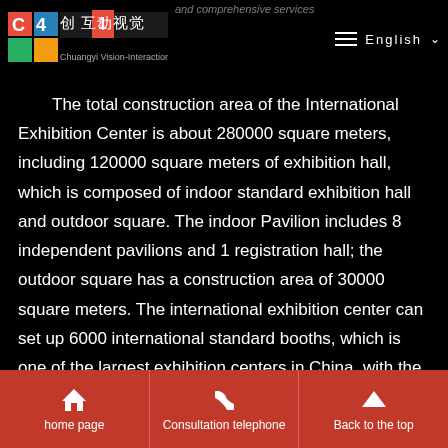Chuangyi Vision-Interaction — English
The total construction area of the International Exhibition Center is about 280000 square meters, including 120000 square meters of exhibition hall, which is composed of indoor standard exhibition hall and outdoor square. The indoor Pavilion includes 8 independent pavilions and 1 registration hall; the outdoor square has a construction area of 30000 square meters. The international exhibition center can set up 6000 international standard booths, which is one of the largest exhibition centers in China, with the most advanced facilities and the most complete supporting facilities.
The international ecological Conference Center is one of the
home page | Consultation telephone | Back to the top